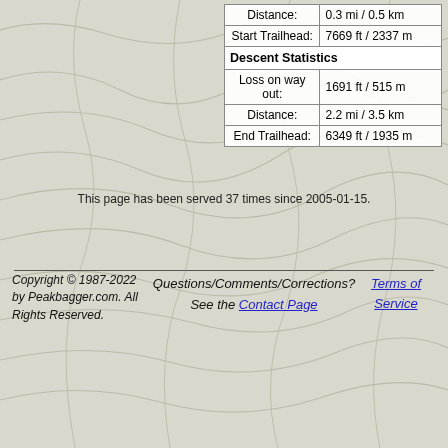| Distance: | 0.3 mi / 0.5 km |
| Start Trailhead: | 7669 ft / 2337 m |
| Descent Statistics |  |
| Loss on way out: | 1691 ft / 515 m |
| Distance: | 2.2 mi / 3.5 km |
| End Trailhead: | 6349 ft / 1935 m |
This page has been served 37 times since 2005-01-15.
Copyright © 1987-2022 by Peakbagger.com. All Rights Reserved. Questions/Comments/Corrections? See the Contact Page Terms of Service